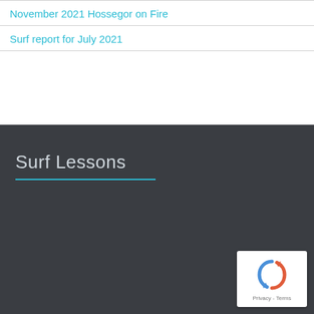November 2021 Hossegor on Fire
Surf report for July 2021
Surf Lessons
[Figure (logo): reCAPTCHA badge with circular arrow logo and Privacy - Terms text]